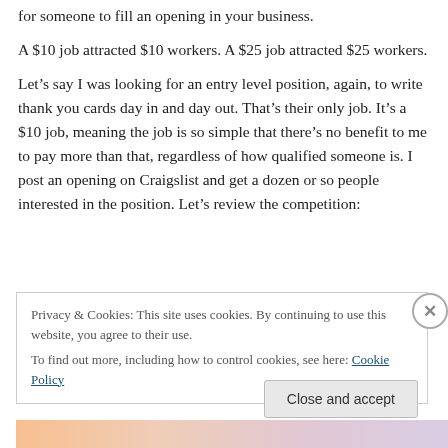for someone to fill an opening in your business.
A $10 job attracted $10 workers. A $25 job attracted $25 workers.
Let’s say I was looking for an entry level position, again, to write thank you cards day in and day out. That’s their only job. It’s a $10 job, meaning the job is so simple that there’s no benefit to me to pay more than that, regardless of how qualified someone is. I post an opening on Craigslist and get a dozen or so people interested in the position. Let’s review the competition:
Privacy & Cookies: This site uses cookies. By continuing to use this website, you agree to their use.
To find out more, including how to control cookies, see here: Cookie Policy